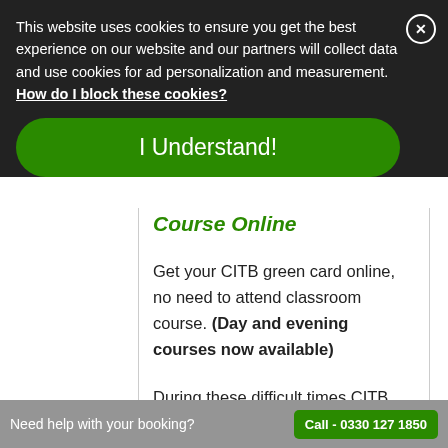This website uses cookies to ensure you get the best experience on our website and our partners will collect data and use cookies for ad personalization and measurement. How do I block these cookies?
I Understand!
Course Online
Get your CITB green card online, no need to attend classroom course. (Day and evening courses now available)
During these difficult times CITB
Need help with your booking?   Call - 0330 127 1850